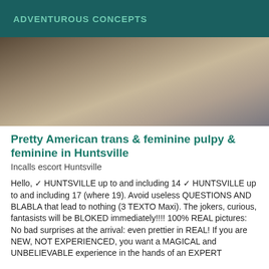ADVENTUROUS CONCEPTS
[Figure (photo): Close-up photo of a person wearing a leopard print top and black strappy lingerie]
Pretty American trans & feminine pulpy & feminine in Huntsville
Incalls escort Huntsville
Hello, ✓ HUNTSVILLE up to and including 14 ✓ HUNTSVILLE up to and including 17 (where 19). Avoid useless QUESTIONS AND BLABLA that lead to nothing (3 TEXTO Maxi). The jokers, curious, fantasists will be BLOKED immediately!!!! 100% REAL pictures: No bad surprises at the arrival: even prettier in REAL! If you are NEW, NOT EXPERIENCED, you want a MAGICAL and UNBELIEVABLE experience in the hands of an EXPERT